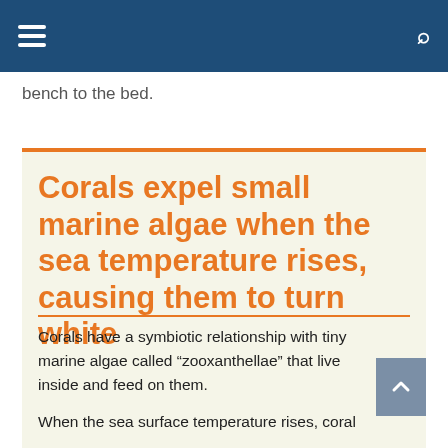bench to the bed.
Corals expel small marine algae when the sea temperature rises, causing them to turn white
Corals have a symbiotic relationship with tiny marine algae called “zooxanthellae” that live inside and feed on them.
When the sea surface temperature rises, coral